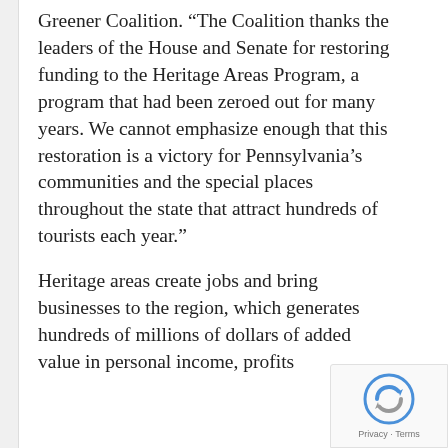Greener Coalition.  “The Coalition thanks the leaders of the House and Senate for restoring funding to the Heritage Areas Program, a program that had been zeroed out for many years.  We cannot emphasize enough that this restoration is a victory for Pennsylvania’s communities and the special places throughout the state that attract hundreds of tourists each year.”
Heritage areas create jobs and bring businesses to the region, which generates hundreds of millions of dollars of added value in personal income, profits…